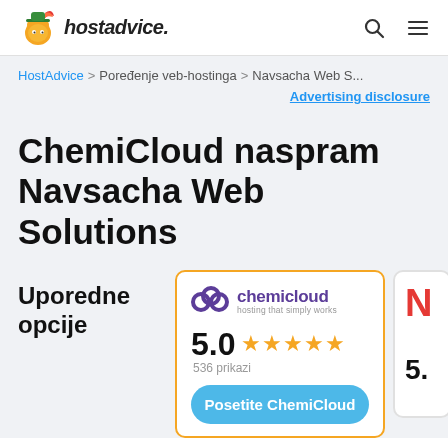[Figure (logo): HostAdvice logo with mascot (orange cat with feather hat) and bold italic 'hostadvice.' text]
HostAdvice > Poređenje veb-hostinga > Navsacha Web S...
Advertising disclosure
ChemiCloud naspram Navsacha Web Solutions
Uporedne opcije
[Figure (logo): ChemiCloud logo with purple interlocked circles icon and 'chemicloud hosting that simply works' text]
5.0 ★★★★★ 536 prikazi
Posetite ChemiCloud
N... 5.5